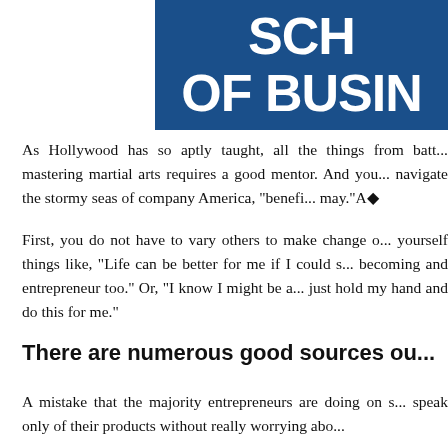[Figure (logo): School of Business logo — white bold text reading 'SCH... OF BUSIN...' on a dark blue background, partially cropped]
As Hollywood has so aptly taught, all the things from batt... mastering martial arts requires a good mentor. And you... navigate the stormy seas of company America, "benefi... may."A◆
First, you do not have to vary others to make change o... yourself things like, "Life can be better for me if I could s... becoming and entrepreneur too." Or, "I know I might be a... just hold my hand and do this for me."
There are numerous good sources ou...
A mistake that the majority entrepreneurs are doing on s... speak only of their products without really worrying abo...